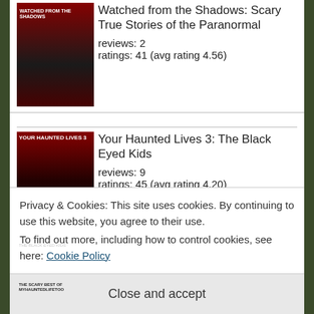Watched from the Shadows: Scary True Stories of the Paranormal
reviews: 2
ratings: 41 (avg rating 4.56)
Your Haunted Lives 3: The Black Eyed Kids
reviews: 9
ratings: 45 (avg rating 4.20)
The Scary Best of MyHauntedlifeToo.com: True Stories of the
Privacy & Cookies: This site uses cookies. By continuing to use this website, you agree to their use.
To find out more, including how to control cookies, see here: Cookie Policy
Close and accept